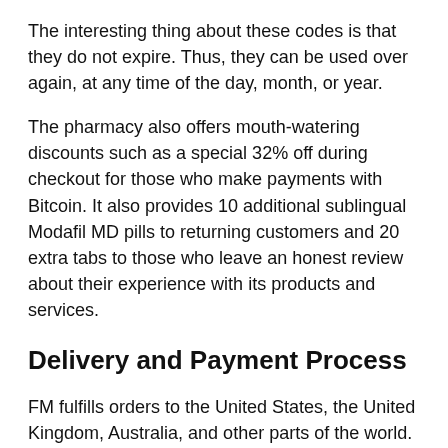The interesting thing about these codes is that they do not expire. Thus, they can be used over again, at any time of the day, month, or year.
The pharmacy also offers mouth-watering discounts such as a special 32% off during checkout for those who make payments with Bitcoin. It also provides 10 additional sublingual Modafil MD pills to returning customers and 20 extra tabs to those who leave an honest review about their experience with its products and services.
Delivery and Payment Process
FM fulfills orders to the United States, the United Kingdom, Australia, and other parts of the world. However, it does not ship to countries that are strict about possession, buying/selling, or use of “smart drugs” without a prescription. They include Brazil, Jordan, South Africa, the United Arab